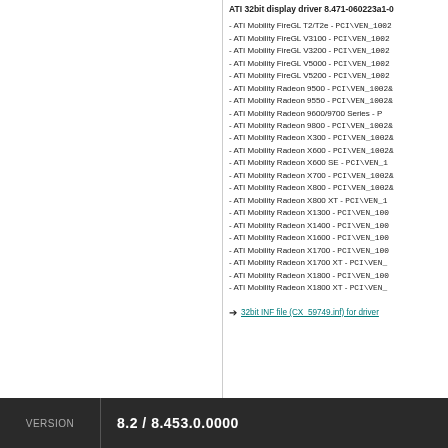ATI 32bit display driver 8.471-060223a1-0...
- ATI Mobility FireGL T2/T2e - PCI\VEN_1002...
- ATI Mobility FireGL V3100 - PCI\VEN_1002...
- ATI Mobility FireGL V3200 - PCI\VEN_1002...
- ATI Mobility FireGL V5000 - PCI\VEN_1002...
- ATI Mobility FireGL V5200 - PCI\VEN_1002...
- ATI Mobility Radeon 9500 - PCI\VEN_1002&...
- ATI Mobility Radeon 9550 - PCI\VEN_1002&...
- ATI Mobility Radeon 9600/9700 Series - P...
- ATI Mobility Radeon 9800 - PCI\VEN_1002&...
- ATI Mobility Radeon X300 - PCI\VEN_1002&...
- ATI Mobility Radeon X600 - PCI\VEN_1002&...
- ATI Mobility Radeon X600 SE - PCI\VEN_1...
- ATI Mobility Radeon X700 - PCI\VEN_1002&...
- ATI Mobility Radeon X800 - PCI\VEN_1002&...
- ATI Mobility Radeon X800 XT - PCI\VEN_1...
- ATI Mobility Radeon X1300 - PCI\VEN_100...
- ATI Mobility Radeon X1400 - PCI\VEN_100...
- ATI Mobility Radeon X1600 - PCI\VEN_100...
- ATI Mobility Radeon X1700 - PCI\VEN_100...
- ATI Mobility Radeon X1700 XT - PCI\VEN_...
- ATI Mobility Radeon X1800 - PCI\VEN_100...
- ATI Mobility Radeon X1800 XT - PCI\VEN_...
➔ 32bit INF file (CX_59749.inf) for driver...
VERSION  8.2 / 8.453.0.0000